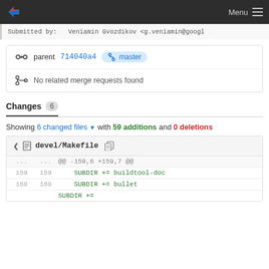Menu
Submitted by:   Veniamin Gvozdikov <g.veniamin@googl
parent 714040a4  master
No related merge requests found
Changes 6
Showing 6 changed files with 59 additions and 0 deletions
devel/Makefile
| old line | new line | code |
| --- | --- | --- |
| ... | ... | @@ -159,6 +159,7 @@ |
| 159 | 159 |     SUBDIR += buildtool-doc |
| 160 | 160 |     SUBDIR += bullet |